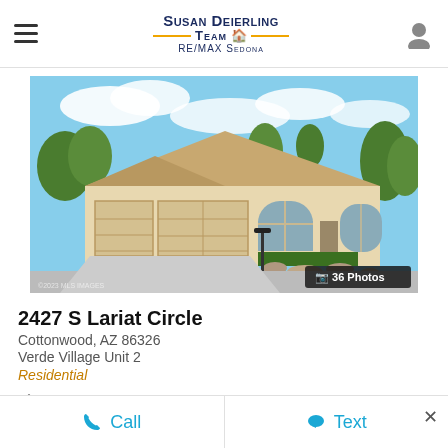Susan Deierling Team RE/MAX Sedona
[Figure (photo): Exterior photo of a single-story ranch-style home with tan stucco exterior, three-car garage, arched windows, green landscaping, and a wide concrete driveway under a partly cloudy sky.]
36 Photos
2427 S Lariat Circle
Cottonwood, AZ 86326
Verde Village Unit 2
Residential
MLS# 530986 / Active
3 br, 2.00 total baths, 1483 sqft
Call   Text